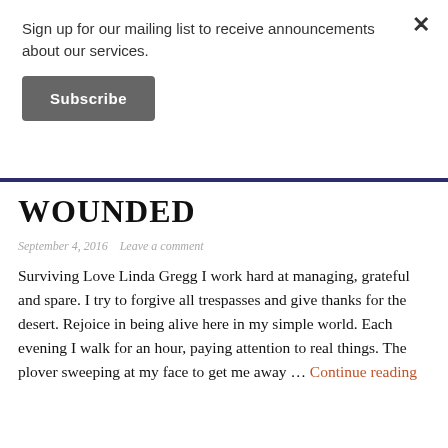Sign up for our mailing list to receive announcements about our services.
Subscribe
WOUNDED
September 4, 2016   Leave a comment
Surviving Love Linda Gregg I work hard at managing, grateful and spare. I try to forgive all trespasses and give thanks for the desert. Rejoice in being alive here in my simple world. Each evening I walk for an hour, paying attention to real things. The plover sweeping at my face to get me away … Continue reading